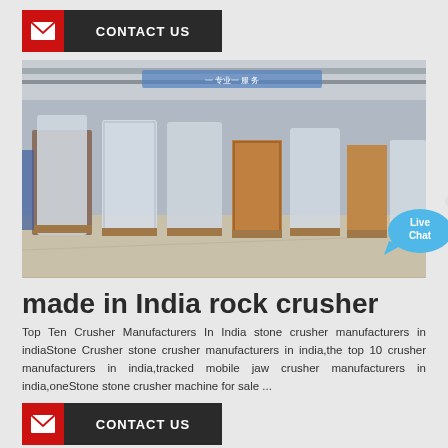CONTACT US
[Figure (photo): Industrial warehouse interior with large machines wrapped in protective plastic sheeting, lined up on wooden pallets along a production floor with overhead steel beams and lighting.]
made in India rock crusher
Top Ten Crusher Manufacturers In India stone crusher manufacturers in indiaStone Crusher stone crusher manufacturers in india,the top 10 crusher manufacturers in india,tracked mobile jaw crusher manufacturers in india,oneStone stone crusher machine for sale ...
CONTACT US